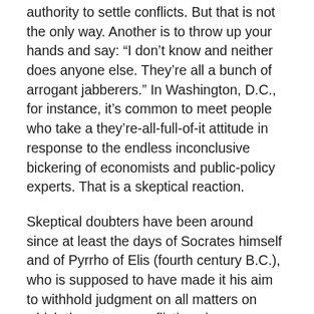authority to settle conflicts. But that is not the only way. Another is to throw up your hands and say: “I don’t know and neither does anyone else. They’re all a bunch of arrogant jabberers.” In Washington, D.C., for instance, it’s common to meet people who take a they’re-all-full-of-it attitude in response to the endless inconclusive bickering of economists and public-policy experts. That is a skeptical reaction.
Skeptical doubters have been around since at least the days of Socrates himself and of Pyrrho of Elis (fourth century B.C.), who is supposed to have made it his aim to withhold judgment on all matters on which there were conflicting views, including the matter of whether anything was known. Skepticism typically flourishes in response to divisive and sometimes violent differences of opinion, as a